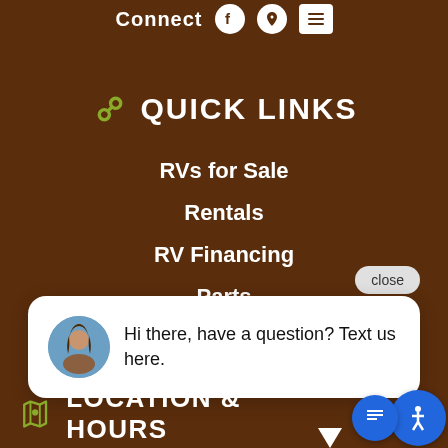Connect
QUICK LINKS
RVs for Sale
Rentals
RV Financing
Parts
close
Hi there, have a question? Text us here.
LOCATION & HOURS